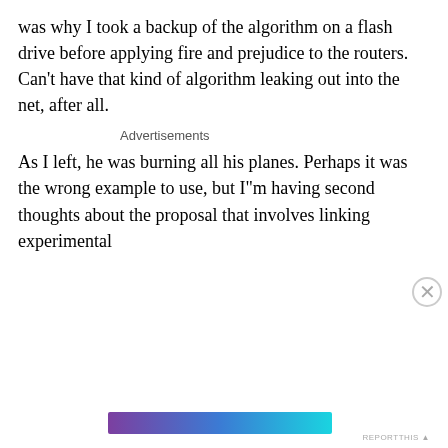was why I took a backup of the algorithm on a flash drive before applying fire and prejudice to the routers. Can't have that kind of algorithm leaking out into the net, after all.
Advertisements
As I left, he was burning all his planes. Perhaps it was the wrong example to use, but I"m having second thoughts about the proposal that involves linking experimental
Privacy & Cookies: This site uses cookies. By continuing to use this website, you agree to their use.
To find out more, including how to control cookies, see here: Cookie Policy
Close and accept